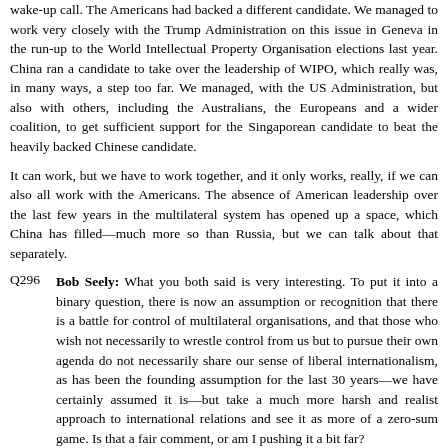wake-up call. The Americans had backed a different candidate. We managed to work very closely with the Trump Administration on this issue in Geneva in the run-up to the World Intellectual Property Organisation elections last year. China ran a candidate to take over the leadership of WIPO, which really was, in many ways, a step too far. We managed, with the US Administration, but also with others, including the Australians, the Europeans and a wider coalition, to get sufficient support for the Singaporean candidate to beat the heavily backed Chinese candidate.
It can work, but we have to work together, and it only works, really, if we can also all work with the Americans. The absence of American leadership over the last few years in the multilateral system has opened up a space, which China has filled—much more so than Russia, but we can talk about that separately.
Q296  Bob Seely: What you both said is very interesting. To put it into a binary question, there is now an assumption or recognition that there is a battle for control of multilateral organisations, and that those who wish not necessarily to wrestle control from us but to pursue their own agenda do not necessarily share our sense of liberal internationalism, as has been the founding assumption for the last 30 years—we have certainly assumed it is—but take a much more harsh and realist approach to international relations and see it as more of a zero-sum game. Is that a fair comment, or am I pushing it a bit far?
Lord Ahmed: May I come in first? We have seen, to endorse...